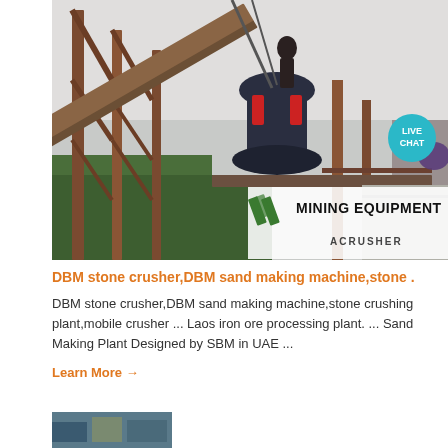[Figure (photo): Industrial mining equipment / cone crusher on elevated steel structure at an outdoor plant site. Overlay badge in lower right reads MINING EQUIPMENT / ACRUSHER with green diagonal stripes logo. Live Chat bubble in upper right corner.]
DBM stone crusher,DBM sand making machine,stone .
DBM stone crusher,DBM sand making machine,stone crushing plant,mobile crusher ... Laos iron ore processing plant. ... Sand Making Plant Designed by SBM in UAE ...
Learn More →
[Figure (photo): Partial thumbnail of another mining/industrial image at the bottom of the page]